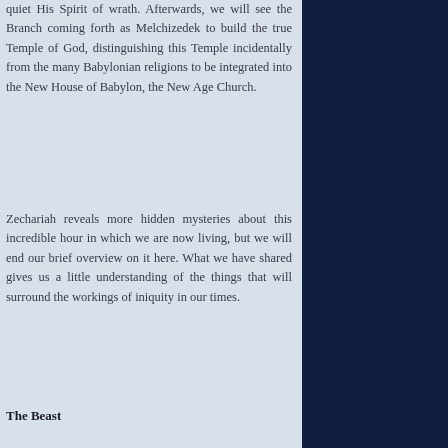quiet His Spirit of wrath. Afterwards, we will see the Branch coming forth as Melchizedek to build the true Temple of God, distinguishing this Temple incidentally from the many Babylonian religions to be integrated into the New House of Babylon, the New Age Church.
Zechariah reveals more hidden mysteries about this incredible hour in which we are now living, but we will end our brief overview on it here. What we have shared gives us a little understanding of the things that will surround the workings of iniquity in our times.
The Beast